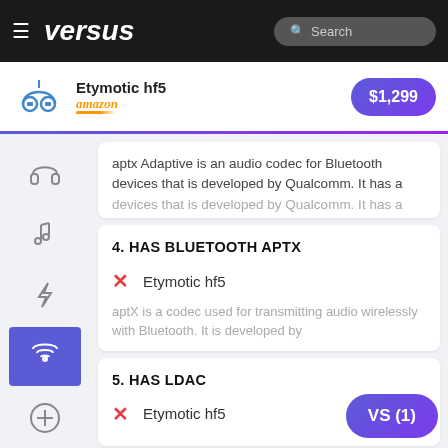versus — Search
Etymotic hf5 — amazon — $1,299
aptx Adaptive is an audio codec for Bluetooth devices that is developed by Qualcomm. It has a
4. HAS BLUETOOTH APTX
✗ Etymotic hf5
aptX is a codec used for transmitting audio wirelessly with Bluetooth. It is developed by
5. HAS LDAC
✗ Etymotic hf5